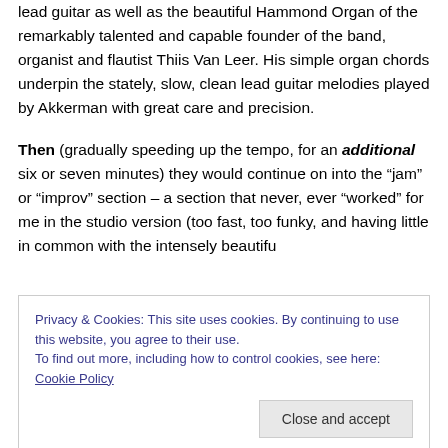lead guitar as well as the beautiful Hammond Organ of the remarkably talented and capable founder of the band, organist and flautist Thiis Van Leer. His simple organ chords underpin the stately, slow, clean lead guitar melodies played by Akkerman with great care and precision.
Then (gradually speeding up the tempo, for an additional six or seven minutes) they would continue on into the "jam" or "improv" section – a section that never, ever "worked" for me in the studio version (too fast, too funky, and having little in common with the intensely beautiful...
Privacy & Cookies: This site uses cookies. By continuing to use this website, you agree to their use. To find out more, including how to control cookies, see here: Cookie Policy